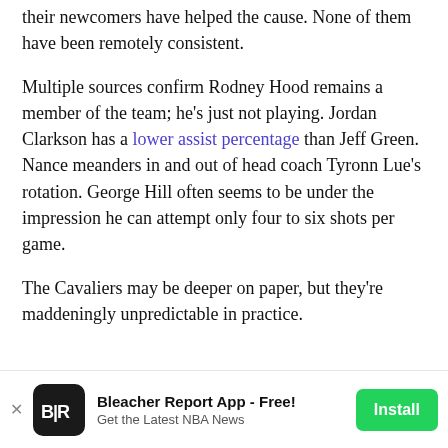their newcomers have helped the cause. None of them have been remotely consistent.
Multiple sources confirm Rodney Hood remains a member of the team; he's just not playing. Jordan Clarkson has a lower assist percentage than Jeff Green. Nance meanders in and out of head coach Tyronn Lue's rotation. George Hill often seems to be under the impression he can attempt only four to six shots per game.
The Cavaliers may be deeper on paper, but they're maddeningly unpredictable in practice.
What Will The Rotations Look Like?
[Figure (other): Bleacher Report app advertisement banner with BR logo, title 'Bleacher Report App - Free!', subtitle 'Get the Latest NBA News', and a green Install button]